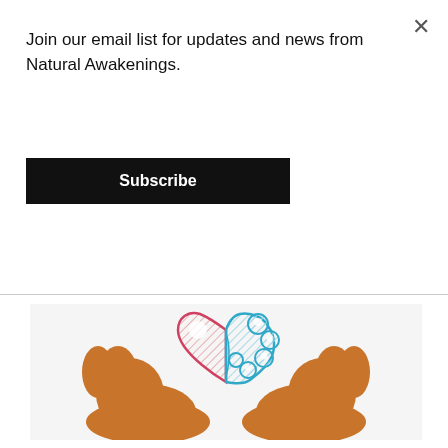Join our email list for updates and news from Natural Awakenings.
Subscribe
[Figure (illustration): Illustration of two cupped hands holding a combined heart (left half, red/pink outlined) and brain (right half, blue outlined) symbol, representing the balance of emotion and intellect.]